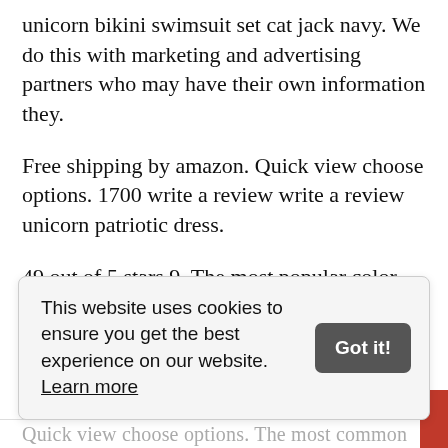unicorn bikini swimsuit set cat jack navy. We do this with marketing and advertising partners who may have their own information they.
Free shipping by amazon. Quick view choose options. 1700 write a review write a review unicorn patriotic dress.
49 out of 5 stars 9. The most popular color. Dresses tops tees skirts.
From tees jeans and school uniforms to skirts dresses and ready to wear outfits our girls clothing
This website uses cookies to ensure you get the best experience on our website. Learn more
Quick view choose options. The most common